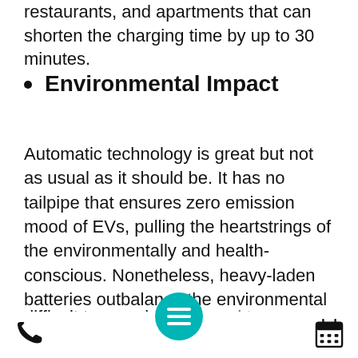restaurants, and apartments that can shorten the charging time by up to 30 minutes.
Environmental Impact
Automatic technology is great but not as usual as it should be. It has no tailpipe that ensures zero emission mood of EVs, pulling the heartstrings of the environmentally and health-conscious. Nonetheless, heavy-laden batteries outbalance the environmental advantages for many. These batteries are difficult to recycle compared to gas powered